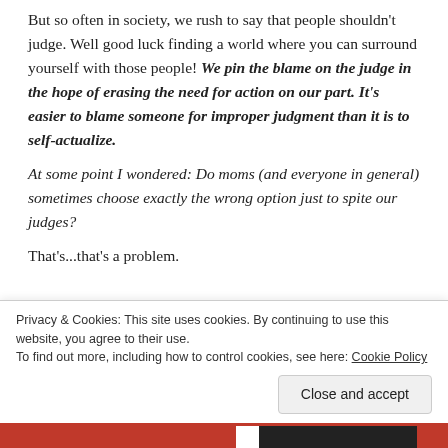But so often in society, we rush to say that people shouldn't judge. Well good luck finding a world where you can surround yourself with those people! We pin the blame on the judge in the hope of erasing the need for action on our part. It's easier to blame someone for improper judgment than it is to self-actualize.
At some point I wondered: Do moms (and everyone in general) sometimes choose exactly the wrong option just to spite our judges?
That's...that's a problem.
Privacy & Cookies: This site uses cookies. By continuing to use this website, you agree to their use.
To find out more, including how to control cookies, see here: Cookie Policy